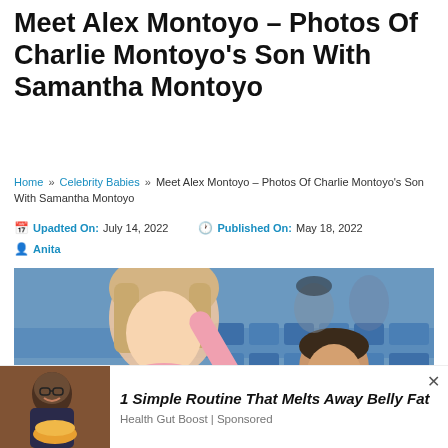Meet Alex Montoyo – Photos Of Charlie Montoyo's Son With Samantha Montoyo
Home » Celebrity Babies » Meet Alex Montoyo – Photos Of Charlie Montoyo's Son With Samantha Montoyo
Upadted On: July 14, 2022  Published On: May 18, 2022  Anita
[Figure (photo): Woman with blonde hair in pink top and a young boy smiling at a baseball stadium with blue seats in the background]
[Figure (photo): Advertisement thumbnail showing a man with food]
1 Simple Routine That Melts Away Belly Fat
Health Gut Boost | Sponsored